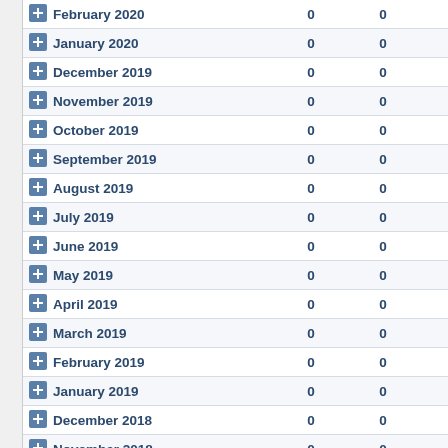| Period |  |  |  |
| --- | --- | --- | --- |
| February 2020 | 0 | 0 | 0 |
| January 2020 | 0 | 0 | 0 |
| December 2019 | 0 | 0 | 0 |
| November 2019 | 0 | 0 | 0 |
| October 2019 | 0 | 0 | 0 |
| September 2019 | 0 | 0 | 0 |
| August 2019 | 0 | 0 | 0 |
| July 2019 | 0 | 0 | 0 |
| June 2019 | 0 | 0 | 0 |
| May 2019 | 0 | 0 | 0 |
| April 2019 | 0 | 0 | 0 |
| March 2019 | 0 | 0 | 0 |
| February 2019 | 0 | 0 | 0 |
| January 2019 | 0 | 0 | 0 |
| December 2018 | 0 | 0 | 0 |
| November 2018 | 0 | 0 | 0 |
| October 2018 | 0 | 0 | 0 |
| September 2018 | 0 | 0 | 0 |